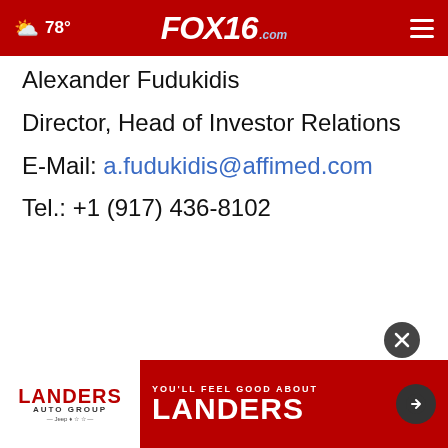78° FOX16 .com
Alexander Fudukidis
Director, Head of Investor Relations
E-Mail: a.fudukidis@affimed.com
Tel.: +1 (917) 436-8102
[Figure (other): Close button (X) overlaid on page]
[Figure (other): Landers Auto Group advertisement banner at bottom of page with 'You'll Feel Good About Landers' text]